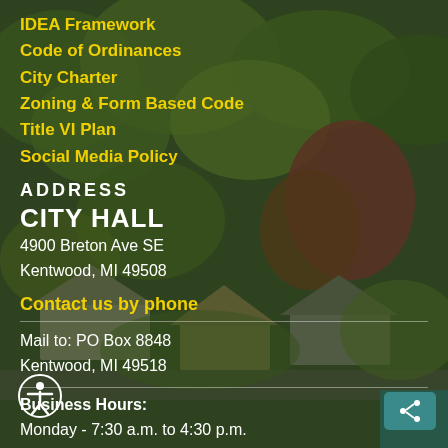IDEA Framework
Code of Ordinances
City Charter
Zoning & Form Based Code
Title VI Plan
Social Media Policy
ADDRESS
CITY HALL
4900 Breton Ave SE
Kentwood, MI 49508
Contact us by phone
Mail to: PO Box 8848
Kentwood, MI 49518
Business Hours:
Monday  -  7:30 a.m. to 4:30 p.m.
Tuesday  -  7:30 a.m. to 6 p.m.
[Figure (photo): Aerial view of a suburban neighborhood with trees in autumn colors, green rooftops visible among the trees.]